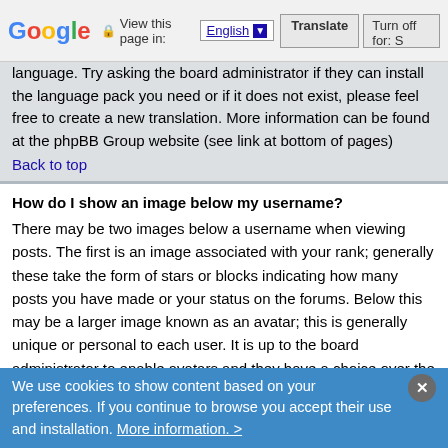Google | View this page in: English [▼] | Translate | Turn off for: S
language. Try asking the board administrator if they can install the language pack you need or if it does not exist, please feel free to create a new translation. More information can be found at the phpBB Group website (see link at bottom of pages)
Back to top
How do I show an image below my username?
There may be two images below a username when viewing posts. The first is an image associated with your rank; generally these take the form of stars or blocks indicating how many posts you have made or your status on the forums. Below this may be a larger image known as an avatar; this is generally unique or personal to each user. It is up to the board administrator to enable avatars and they have a choice over the way in which avatars can be made available. If you are unable to use avatars then this is the decision of the board admin and you should ask them their reasons (we're sure they'll be good!)
Back to top
How do I change my rank?
We use cookies to show content based on your preferences. If you continue to browse you accept their use and installation. More information. >